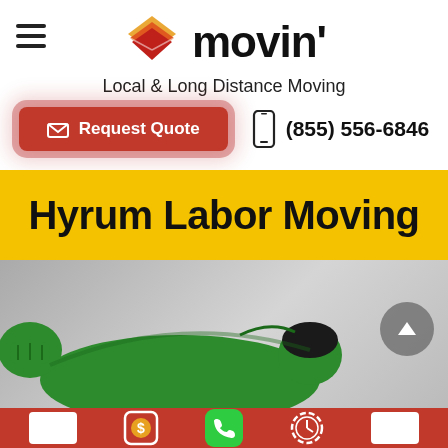[Figure (logo): Movin' moving company logo: layered envelope/diamond shape in red, orange, yellow gradient with text 'movin'' in bold black]
Local & Long Distance Moving
Request Quote
(855) 556-6846
Hyrum Labor Moving
[Figure (illustration): Cartoon illustration of a green-clad mover/superhero figure on a grey background with a scroll-up button on the right]
[Figure (other): Red bottom navigation bar with white box, dollar sign icon, green phone icon, clock icon, and white box icons]